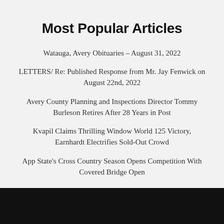Most Popular Articles
Watauga, Avery Obituaries – August 31, 2022
LETTERS/ Re: Published Response from Mr. Jay Fenwick on August 22nd, 2022
Avery County Planning and Inspections Director Tommy Burleson Retires After 28 Years in Post
Kvapil Claims Thrilling Window World 125 Victory, Earnhardt Electrifies Sold-Out Crowd
App State's Cross Country Season Opens Competition With Covered Bridge Open